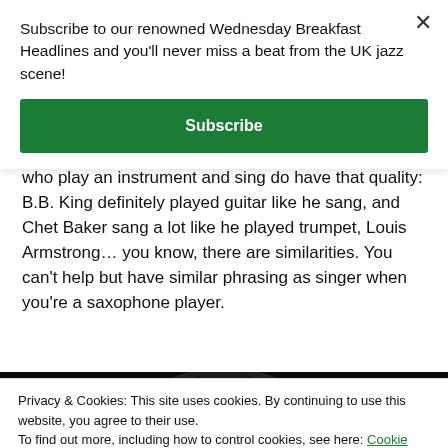Subscribe to our renowned Wednesday Breakfast Headlines and you'll never miss a beat from the UK jazz scene!
Subscribe
who play an instrument and sing do have that quality: B.B. King definitely played guitar like he sang, and Chet Baker sang a lot like he played trumpet, Louis Armstrong... you know, there are similarities. You can't help but have similar phrasing as singer when you're a saxophone player.
[Figure (photo): Black and white photograph of a jazz musician, partially visible]
Privacy & Cookies: This site uses cookies. By continuing to use this website, you agree to their use.
To find out more, including how to control cookies, see here: Cookie Policy
Close and accept